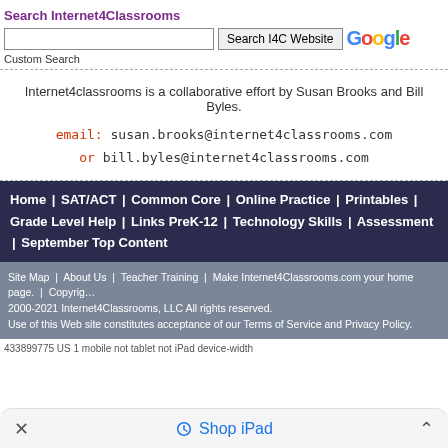Search Internet4Classrooms
Custom Search
Internet4classrooms is a collaborative effort by Susan Brooks and Bill Byles.
email: susan.brooks@internet4classrooms.com or bill.byles@internet4classrooms.com
Home | SAT/ACT | Common Core | Online Practice | Printables | Grade Level Help | Links PreK-12 | Technology Skills | Assessment | September Top Content
Site Map | About Us | Teacher Training | Make Internet4Classrooms.com your home page. | Copyright 2000-2021 Internet4Classrooms, LLC All rights reserved. Use of this Web site constitutes acceptance of our Terms of Service and Privacy Policy.
433899775 US 1 mobile not tablet not iPad device-width
Shop iPad